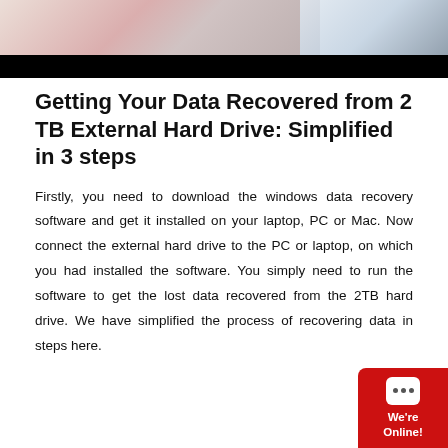[Figure (photo): Top portion of a webpage showing a partial photo strip with a person and a device/laptop image, with a black bar below it.]
Getting Your Data Recovered from 2 TB External Hard Drive: Simplified in 3 steps
Firstly, you need to download the windows data recovery software and get it installed on your laptop, PC or Mac. Now connect the external hard drive to the PC or laptop, on which you had installed the software. You simply need to run the software to get the lost data recovered from the 2TB hard drive. We have simplified the process of recovering data in steps here.